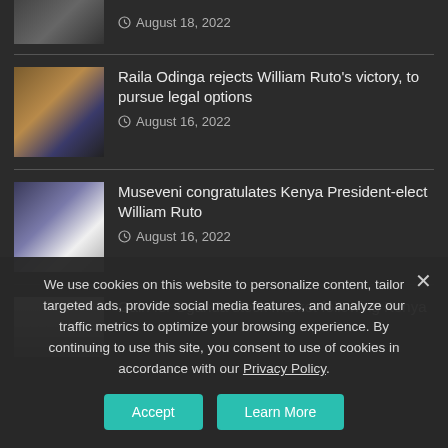[Figure (photo): Partial image at top (gavel/court related), cropped]
August 18, 2022
[Figure (photo): Photo of Raila Odinga at a podium with blue background]
Raila Odinga rejects William Ruto's victory, to pursue legal options
August 16, 2022
[Figure (photo): Photo of Museveni and William Ruto shaking hands]
Museveni congratulates Kenya President-elect William Ruto
August 16, 2022
[Figure (photo): Partial photo for Uganda stock market article]
Gain for Uganda stock market following Kenya
We use cookies on this website to personalize content, tailor targeted ads, provide social media features, and analyze our traffic metrics to optimize your browsing experience. By continuing to use this site, you consent to use of cookies in accordance with our Privacy Policy.
Accept
Learn More